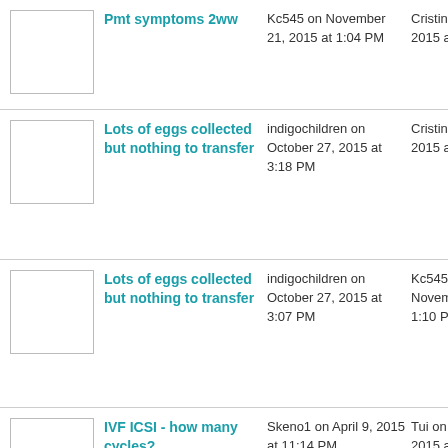Pmt symptoms 2ww | Kc545 on November 21, 2015 at 1:04 PM | Cristina November 2015 at 6:59 AM
Lots of eggs collected but nothing to transfer | indigochildren on October 27, 2015 at 3:18 PM | Cristina November 2015 at 4:22 AM
Lots of eggs collected but nothing to transfer | indigochildren on October 27, 2015 at 3:07 PM | Kc545 on November 2015 at 1:10 PM
IVF ICSI - how many cycles? | Skeno1 on April 9, 2015 at 11:14 PM | Tui on October 2015 at 9:06 AM